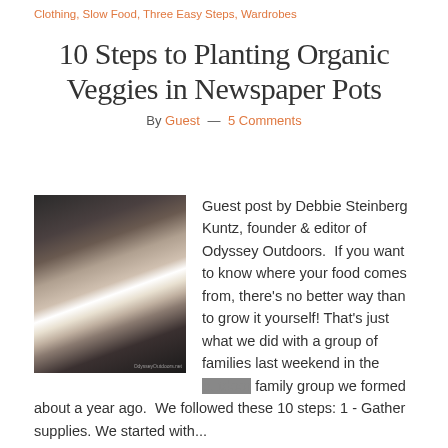Clothing, Slow Food, Three Easy Steps, Wardrobes
10 Steps to Planting Organic Veggies in Newspaper Pots
By Guest — 5 Comments
[Figure (photo): Photo of newspaper pots with seedlings, dark background showing rolled newspaper containers in a tray]
Guest post by Debbie Steinberg Kuntz, founder & editor of Odyssey Outdoors.  If you want to know where your food comes from, there's no better way than to grow it yourself! That's just what we did with a group of families last weekend in the outdoor family group we formed about a year ago.  We followed these 10 steps: 1 - Gather supplies. We started with...